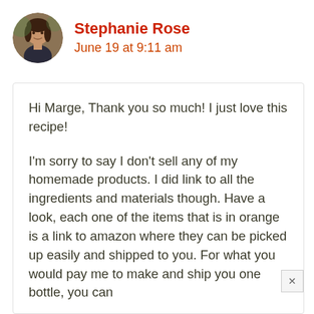Stephanie Rose
June 19 at 9:11 am
Hi Marge, Thank you so much! I just love this recipe!

I'm sorry to say I don't sell any of my homemade products. I did link to all the ingredients and materials though. Have a look, each one of the items that is in orange is a link to amazon where they can be picked up easily and shipped to you. For what you would pay me to make and ship you one bottle, you can make 10 of your own. I do hope you give it a try, and please do let me know